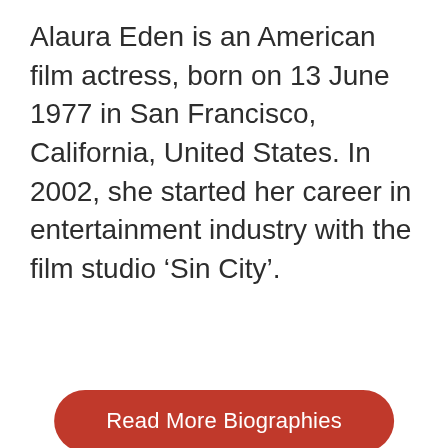Alaura Eden is an American film actress, born on 13 June 1977 in San Francisco, California, United States. In 2002, she started her career in entertainment industry with the film studio ‘Sin City’.
[Figure (other): A red rounded rectangle button with white text reading 'Read More Biographies']